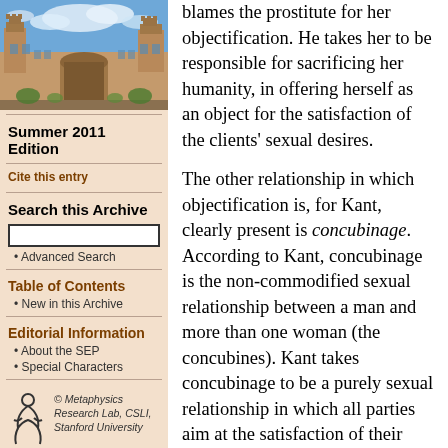[Figure (photo): Photograph of a sandstone university building with towers, archways, and blue sky with clouds — likely University of Sydney]
Summer 2011 Edition
Cite this entry
Search this Archive
Advanced Search
Table of Contents
New in this Archive
Editorial Information
About the SEP
Special Characters
© Metaphysics Research Lab, CSLI, Stanford University
blames the prostitute for her objectification. He takes her to be responsible for sacrificing her humanity, in offering herself as an object for the satisfaction of the clients' sexual desires.

The other relationship in which objectification is, for Kant, clearly present is concubinage. According to Kant, concubinage is the non-commodified sexual relationship between a man and more than one woman (the concubines). Kant takes concubinage to be a purely sexual relationship in which all parties aim at the satisfaction of their sexual desires (Kant Lectures on Ethics, 166). The inequality that is involved in